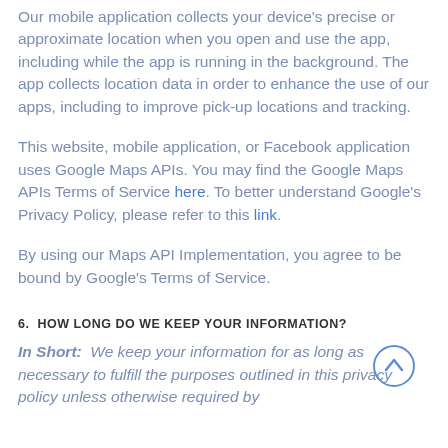Our mobile application collects your device's precise or approximate location when you open and use the app, including while the app is running in the background. The app collects location data in order to enhance the use of our apps, including to improve pick-up locations and tracking.
This website, mobile application, or Facebook application uses Google Maps APIs. You may find the Google Maps APIs Terms of Service here. To better understand Google's Privacy Policy, please refer to this link.
By using our Maps API Implementation, you agree to be bound by Google's Terms of Service.
6. HOW LONG DO WE KEEP YOUR INFORMATION?
In Short:  We keep your information for as long as necessary to fulfill the purposes outlined in this privacy policy unless otherwise required by